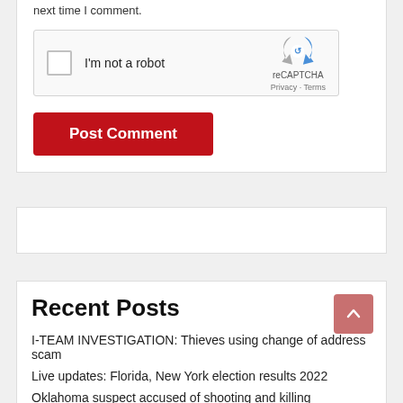next time I comment.
[Figure (other): reCAPTCHA widget with checkbox labeled 'I'm not a robot' and reCAPTCHA logo with Privacy - Terms links]
Post Comment
Recent Posts
I-TEAM INVESTIGATION: Thieves using change of address scam
Live updates: Florida, New York election results 2022
Oklahoma suspect accused of shooting and killing